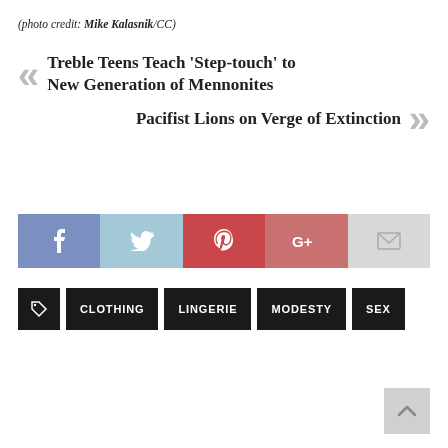(photo credit: Mike Kalasnik/CC)
Treble Teens Teach 'Step-touch' to New Generation of Mennonites
Pacifist Lions on Verge of Extinction
[Figure (infographic): Social sharing buttons: Facebook, Twitter, Pinterest, Google+, Email]
CLOTHING
LINGERIE
MODESTY
SEX